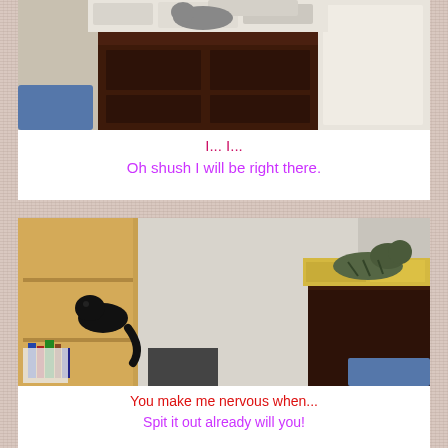[Figure (photo): A cat on top of a dark wooden dresser with folded laundry piled on top, in a room with a white door visible]
I... I...
Oh shush I will be right there.
[Figure (photo): Two cats on top of furniture facing each other across a room: a black cat on a wooden bookcase on the left and a tabby cat on a dark dresser on the right]
You make me nervous when...
Spit it out already will you!